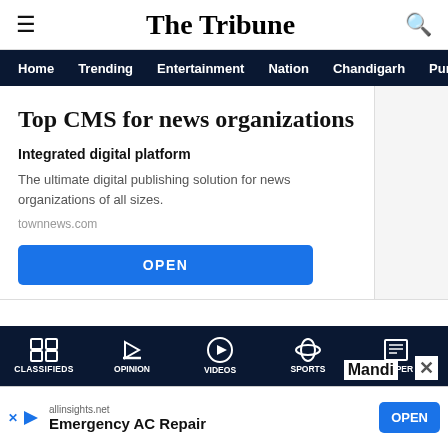The Tribune
Home  Trending  Entertainment  Nation  Chandigarh  Punjab
Top CMS for news organizations
Integrated digital platform
The ultimate digital publishing solution for news organizations of all sizes.
townnews.com
OPEN
CLASSIFIEDS  OPINION  VIDEOS  SPORTS  EPAPER  Mandi
allinsights.net  Emergency AC Repair  OPEN